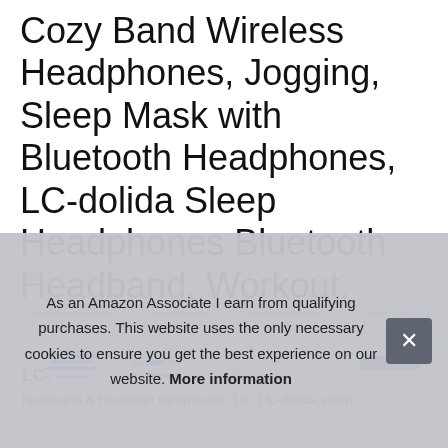Cozy Band Wireless Headphones, Jogging, Sleep Mask with Bluetooth Headphones, LC-dolida Sleep Headphones Bluetooth Headband, Workout, Yoga
#ad
[Figure (screenshot): Row of four product feature thumbnail images: 'Superior Stereo Sound Quality', 'Powerful Battery Life', 'Enjoy Complete Relaxation!', 'One Size Fits All']
As an Amazon Associate I earn from qualifying purchases. This website uses the only necessary cookies to ensure you get the best experience on our website. More information
LC-
headband & bluetooth sleep mask 3 in 1 lc-dolida sleep